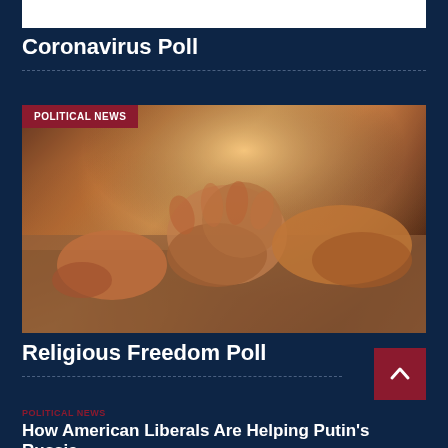Coronavirus Poll
[Figure (photo): Hands clasped together in prayer on a wooden table, warm lighting from above]
Religious Freedom Poll
POLITICAL NEWS
How American Liberals Are Helping Putin's Russia